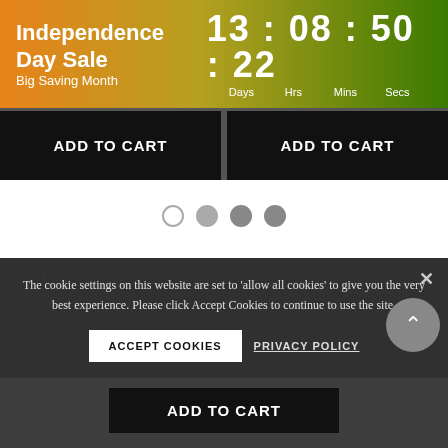Independence Day Sale — Big Saving Month | 13 : 08 : 50 : 22 Days Hrs Mins Secs
[Figure (screenshot): Two black ADD TO CART buttons side by side]
[Figure (infographic): Carousel pagination dots: one empty circle and three filled grey circles]
The cookie settings on this website are set to 'allow all cookies' to give you the very best experience. Please click Accept Cookies to continue to use the site.
CATEGORIES
POLICIES
ACCEPT COOKIES
PRIVACY POLICY
ADD TO CART